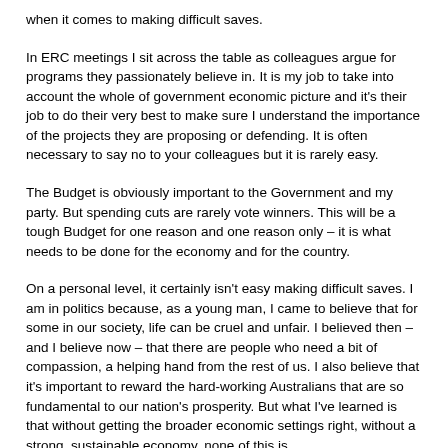when it comes to making difficult saves.
In ERC meetings I sit across the table as colleagues argue for programs they passionately believe in. It is my job to take into account the whole of government economic picture and it's their job to do their very best to make sure I understand the importance of the projects they are proposing or defending. It is often necessary to say no to your colleagues but it is rarely easy.
The Budget is obviously important to the Government and my party. But spending cuts are rarely vote winners. This will be a tough Budget for one reason and one reason only – it is what needs to be done for the economy and for the country.
On a personal level, it certainly isn't easy making difficult saves. I am in politics because, as a young man, I came to believe that for some in our society, life can be cruel and unfair. I believed then – and I believe now – that there are people who need a bit of compassion, a helping hand from the rest of us. I also believe that it's important to reward the hard-working Australians that are so fundamental to our nation's prosperity. But what I've learned is that without getting the broader economic settings right, without a strong, sustainable economy, none of this is